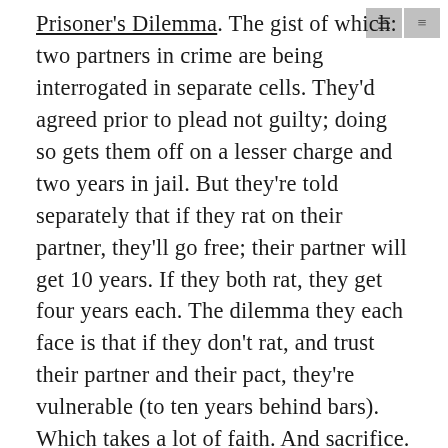Prisoner's Dilemma. The gist of which: two partners in crime are being interrogated in separate cells. They'd agreed prior to plead not guilty; doing so gets them off on a lesser charge and two years in jail. But they're told separately that if they rat on their partner, they'll go free; their partner will get 10 years. If they both rat, they get four years each. The dilemma they each face is that if they don't rat, and trust their partner and their pact, they're vulnerable (to ten years behind bars). Which takes a lot of faith. And sacrifice. Of course, if they could communicate, they'd be fine. The challenge, says Fisher, is to always find a way to communicate. To reinstall